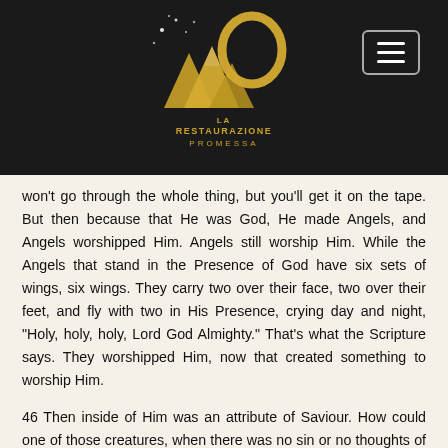[Figure (logo): La Restaurazione Promessa logo — gold mountain and circular shape with stars on dark background, with text 'LA RESTAURAZIONE PROMESSA' below]
won't go through the whole thing, but you'll get it on the tape. But then because that He was God, He made Angels, and Angels worshipped Him. Angels still worship Him. While the Angels that stand in the Presence of God have six sets of wings, six wings. They carry two over their face, two over their feet, and fly with two in His Presence, crying day and night, "Holy, holy, holy, Lord God Almighty." That's what the Scripture says. They worshipped Him, now that created something to worship Him.
46 Then inside of Him was an attribute of Saviour. How could one of those creatures, when there was no sin or no thoughts of sin, how could one of them be lost? It couldn't be. So there had to be something made that